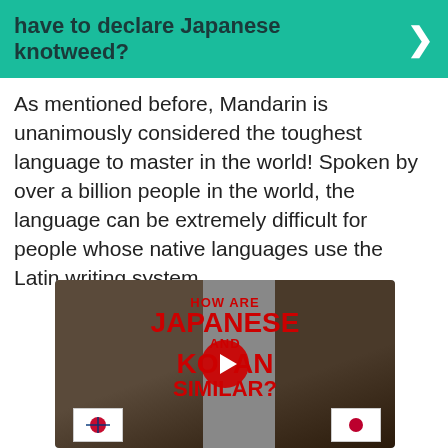have to declare Japanese knotweed?
As mentioned before, Mandarin is unanimously considered the toughest language to master in the world! Spoken by over a billion people in the world, the language can be extremely difficult for people whose native languages use the Latin writing system.
[Figure (screenshot): YouTube video thumbnail showing two people with text overlay: HOW ARE JAPANESE AND KOREAN SIMILAR? with a red play button in the center, and country flags at the bottom.]